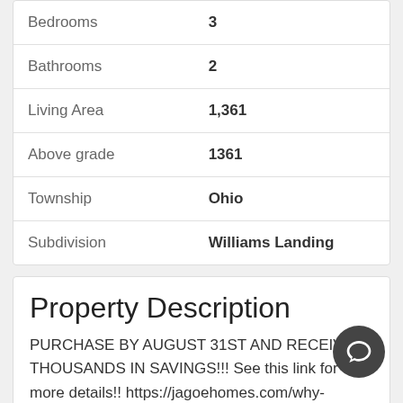| Property | Value |
| --- | --- |
| Bedrooms | 3 |
| Bathrooms | 2 |
| Living Area | 1,361 |
| Above grade | 1361 |
| Township | Ohio |
| Subdivision | Williams Landing |
Property Description
PURCHASE BY AUGUST 31ST AND RECEIVE THOUSANDS IN SAVINGS!!! See this link for more details!! https://jagoehomes.com/why-choose-jagoe/move-in-ready-homes-special-30-